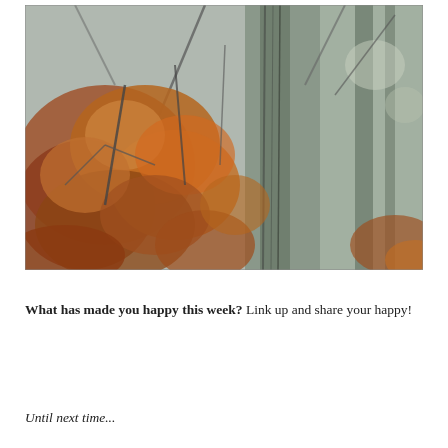[Figure (photo): A close-up photograph of autumn brown/orange leaves on tree branches in a forest, with bare tree trunks and branches visible in the background. The photo has a naturalistic, slightly blurred quality.]
What has made you happy this week? Link up and share your happy!
Until next time...